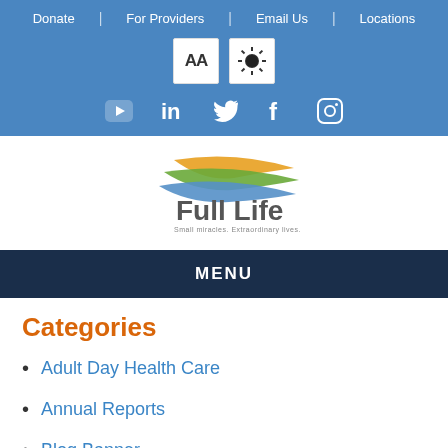Donate | For Providers | Email Us | Locations
[Figure (screenshot): AA font size icon and brightness/contrast icon buttons]
[Figure (screenshot): Social media icons: YouTube, LinkedIn, Twitter, Facebook, Instagram]
[Figure (logo): Full Life logo with colorful swoosh and tagline: Small miracles. Extraordinary lives.]
MENU
Categories
Adult Day Health Care
Annual Reports
Blog Banner
Care Teams